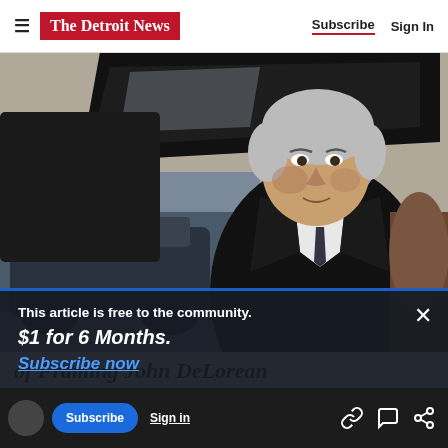The Detroit News — Subscribe | Sign In
[Figure (photo): Man with gray hair sitting in a car with the trunk/hood open, photographed from outside the vehicle. Background shows a parking lot.]
This article is free to the community.
$1 for 6 Months.
Subscribe now
of Framing John DeLorean